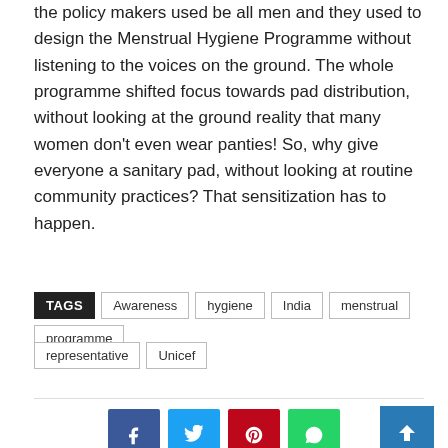the policy makers used be all men and they used to design the Menstrual Hygiene Programme without listening to the voices on the ground. The whole programme shifted focus towards pad distribution, without looking at the ground reality that many women don't even wear panties! So, why give everyone a sanitary pad, without looking at routine community practices? That sensitization has to happen.
Source link
TAGS Awareness hygiene India menstrual programme representative Unicef